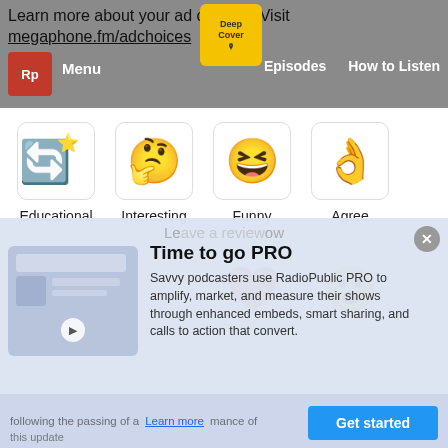Learn more about your ad choices. Visit megaphone.fm/adchoices
[Figure (screenshot): RadioPublic navigation bar with logo, Menu, Deep Cover podcast badge, Episodes and How to Listen links]
[Figure (infographic): Reaction emoji grid with Educational (recycle/star emoji), Interesting (thinking emoji), Funny (laughing emoji), Agree (ok hand emoji), Love (red heart emoji), Surprise (surprised face emoji)]
Educational
Interesting
Funny
Agree
[Figure (screenshot): Time to go PRO promotional overlay with RadioPublic PRO advertisement, podcast embed image, Get started button]
Time to go PRO
Savvy podcasters use RadioPublic PRO to amplify, market, and measure their shows through enhanced embeds, smart sharing, and calls to action that convert.
Get started